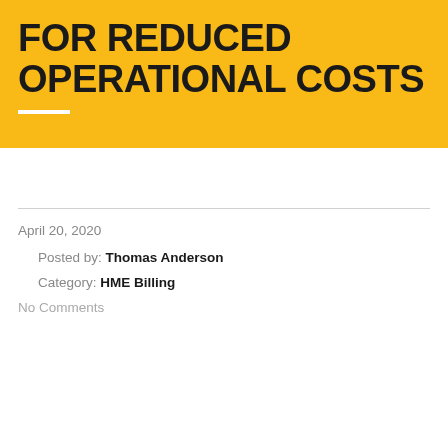FOR REDUCED OPERATIONAL COSTS
April 20, 2020
Posted by: Thomas Anderson
Category: HME Billing
No Comments